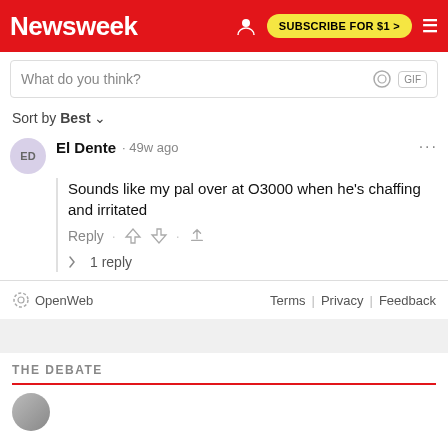Newsweek | SUBSCRIBE FOR $1 >
What do you think?
Sort by Best ∨
El Dente · 49w ago
Sounds like my pal over at O3000 when he's chaffing and irritated
Reply · 👍 👎 · ⬆
↩ 1 reply
OpenWeb   Terms | Privacy | Feedback
THE DEBATE